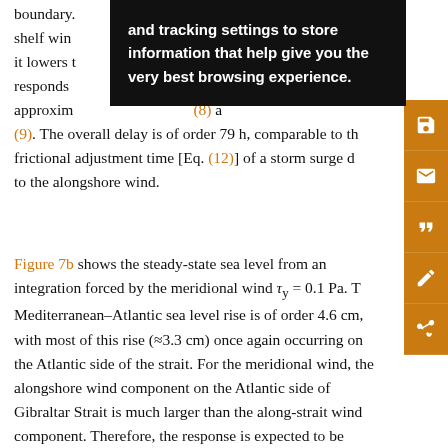boundary. ... shelf wind ... n side it lowers t ... responds ... ay of approxim ... (8) and (9). The overall delay is of order 79 h, comparable to the frictional adjustment time [Eq. (12)] of a storm surge due to the alongshore wind.
[Figure (screenshot): Cookie/tracking settings popup overlay with text: 'and tracking settings to store information that help give you the very best browsing experience.']
Figure 7b shows the steady-state sea level from an integration forced by the meridional wind τ_y = 0.1 Pa. The Mediterranean–Atlantic sea level rise is of order 4.6 cm, with most of this rise (≈3.3 cm) once again occurring on the Atlantic side of the strait. For the meridional wind, the alongshore wind component on the Atlantic side of Gibraltar Strait is much larger than the along-strait wind component. Therefore, the response is expected to be